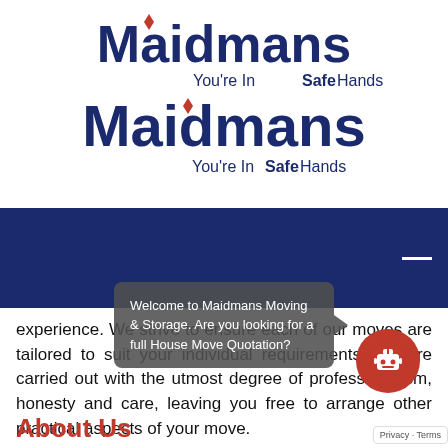[Figure (logo): Maidmans logo appearing twice: large text 'Maidmans' in dark navy blue with red diamond diacritic above 'i', tagline 'You're In Safe Hands' in smaller text with 'Safe' bolded, repeated twice vertically.]
[Figure (screenshot): Dark navy blue navigation banner with white hamburger menu icon on the right side.]
experience. We strive to ensure each of our moves are tailored to suit your individual requirements and are carried out with the utmost degree of professionalism, honesty and care, leaving you free to arrange other practical aspects of your move.
Welcome to Maidmans Moving & Storage. Are you looking for a full House Move Quotation?
About Us